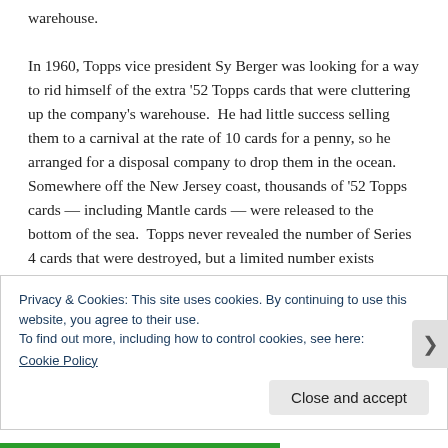warehouse.

In 1960, Topps vice president Sy Berger was looking for a way to rid himself of the extra '52 Topps cards that were cluttering up the company's warehouse.  He had little success selling them to a carnival at the rate of 10 cards for a penny, so he arranged for a disposal company to drop them in the ocean. Somewhere off the New Jersey coast, thousands of '52 Topps cards — including Mantle cards — were released to the bottom of the sea. Topps never revealed the number of Series 4 cards that were destroyed, but a limited number exists
Privacy & Cookies: This site uses cookies. By continuing to use this website, you agree to their use.
To find out more, including how to control cookies, see here:
Cookie Policy
Close and accept